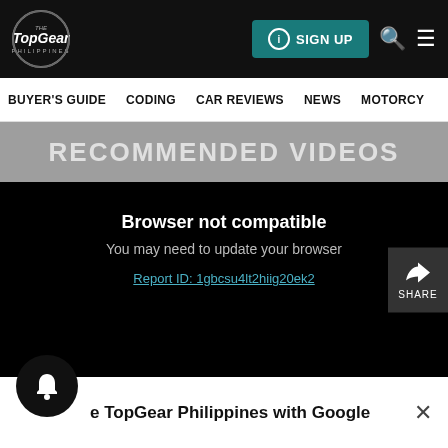[Figure (screenshot): TopGear Philippines website header with logo, SIGN UP button, search and menu icons]
BUYER'S GUIDE   CODING   CAR REVIEWS   NEWS   MOTORCY
RECOMMENDED VIDEOS
Browser not compatible
You may need to update your browser
Report ID: 1gbcsu4lt2hiig20ek2
e TopGear Philippines with Google
Continue with Google